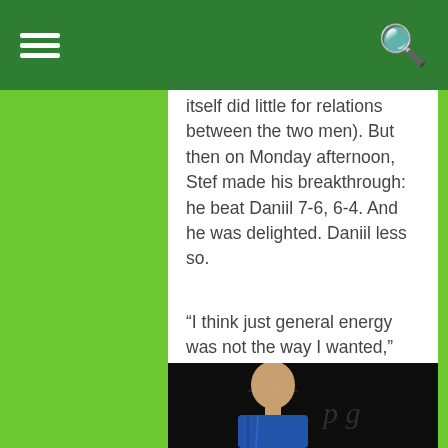[navigation header with hamburger menu and search icon]
itself did little for relations between the two men). But then on Monday afternoon, Stef made his breakthrough: he beat Daniil 7-6, 6-4. And he was delighted. Daniil less so.
“I think just general energy was not the way I wanted,” the Russian said. “And talking about energy, I’m not talking only about physical. Mentally I was missing something. I didn’t have good energy enough to get the win today.
[Figure (photo): Photo of Daniil Medvedev looking upward, wearing a blue striped shirt, against a dark black background with faint logo watermark]